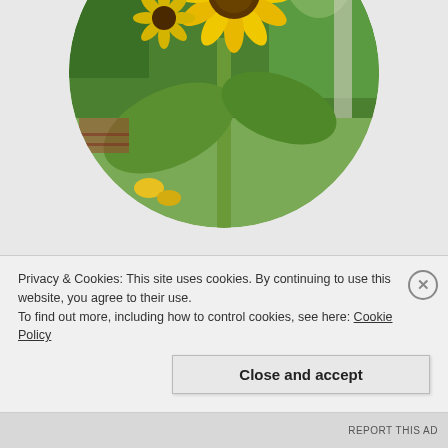[Figure (photo): Circular cropped photograph of sunflowers in a garden, showing a large yellow sunflower bloom at the top center with green leaves, stem, and lush garden background with trees.]
Check out the sunflowers we have opening now! We did not plant any sunflowers this year, though it had been in the plans. There are a few things we didn't plant, with how crazy this spring was. And yet, we have several sunflowers growing, all planted by the birds. And it looks like the extra bit of fertilizer they were in helped,
Privacy & Cookies: This site uses cookies. By continuing to use this website, you agree to their use.
To find out more, including how to control cookies, see here: Cookie Policy
Close and accept